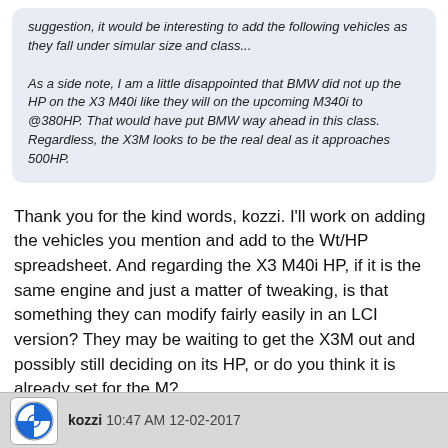suggestion, it would be interesting to add the following vehicles as they fall under simular size and class... As a side note, I am a little disappointed that BMW did not up the HP on the X3 M40i like they will on the upcoming M340i to @380HP. That would have put BMW way ahead in this class. Regardless, the X3M looks to be the real deal as it approaches 500HP.
Thank you for the kind words, kozzi. I'll work on adding the vehicles you mention and add to the Wt/HP spreadsheet. And regarding the X3 M40i HP, if it is the same engine and just a matter of tweaking, is that something they can modify fairly easily in an LCI version? They may be waiting to get the X3M out and possibly still deciding on its HP, or do you think it is already set for the M?
QUOTE
kozzi 10:47 AM 12-02-2017